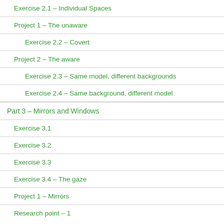Exercise 2.1 – Individual Spaces
Project 1 – The unaware
Exercise 2.2 – Covert
Project 2 – The aware
Exercise 2.3 – Same model, different backgrounds
Exercise 2.4 – Same background, different model
Part 3 – Mirrors and Windows
Exercise 3.1
Exercise 3.2
Exercise 3.3
Exercise 3.4 – The gaze
Project 1 – Mirrors
Research point – 1